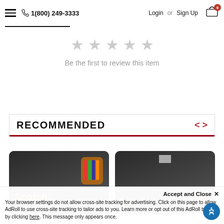1(800) 249-3333  Login or Sign Up
[Figure (other): Five empty (gray) star rating icons indicating no reviews yet]
Be the first to review this item
RECOMMENDED
[Figure (photo): Scotch brand product packaging - pencil/crayon holder, dark background]
[Figure (photo): Scotch brand product packaging - second product, dark background]
Accept and Close ✕
Your browser settings do not allow cross-site tracking for advertising. Click on this page to allow AdRoll to use cross-site tracking to tailor ads to you. Learn more or opt out of this AdRoll tracking by clicking here. This message only appears once.